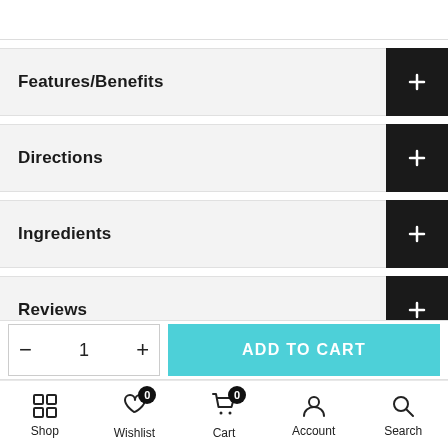Features/Benefits
Directions
Ingredients
Reviews
- 1 +
ADD TO CART
Shop | Wishlist (0) | Cart (0) | Account | Search